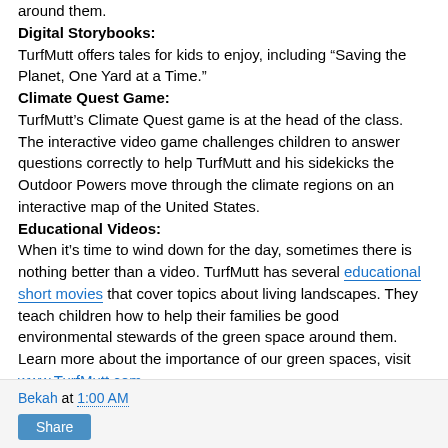around them.
Digital Storybooks:
TurfMutt offers tales for kids to enjoy, including “Saving the Planet, One Yard at a Time.”
Climate Quest Game:
TurfMutt’s Climate Quest game is at the head of the class. The interactive video game challenges children to answer questions correctly to help TurfMutt and his sidekicks the Outdoor Powers move through the climate regions on an interactive map of the United States.
Educational Videos:
When it’s time to wind down for the day, sometimes there is nothing better than a video. TurfMutt has several educational short movies that cover topics about living landscapes. They teach children how to help their families be good environmental stewards of the green space around them. Learn more about the importance of our green spaces, visit www.TurfMutt.com.
Bekah at 1:00 AM